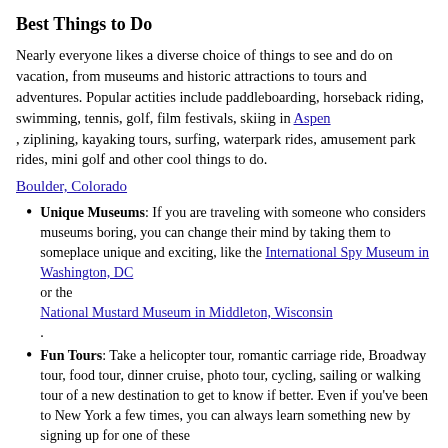Best Things to Do
Nearly everyone likes a diverse choice of things to see and do on vacation, from museums and historic attractions to tours and adventures. Popular actities include paddleboarding, horseback riding, swimming, tennis, golf, film festivals, skiing in Aspen , ziplining, kayaking tours, surfing, waterpark rides, amusement park rides, mini golf and other cool things to do.
Boulder, Colorado
Unique Museums: If you are traveling with someone who considers museums boring, you can change their mind by taking them to someplace unique and exciting, like the International Spy Museum in Washington, DC or the National Mustard Museum in Middleton, Wisconsin .
Fun Tours: Take a helicopter tour, romantic carriage ride, Broadway tour, food tour, dinner cruise, photo tour, cycling, sailing or walking tour of a new destination to get to know if better. Even if you've been to New York a few times, you can always learn something new by signing up for one of these